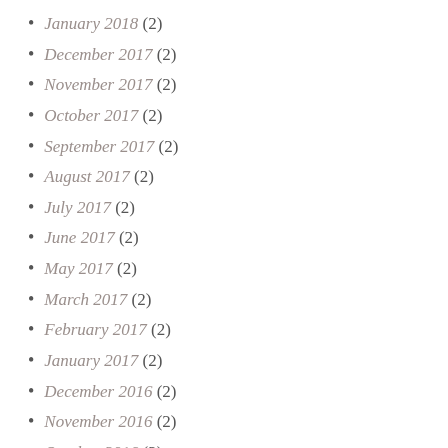January 2018 (2)
December 2017 (2)
November 2017 (2)
October 2017 (2)
September 2017 (2)
August 2017 (2)
July 2017 (2)
June 2017 (2)
May 2017 (2)
March 2017 (2)
February 2017 (2)
January 2017 (2)
December 2016 (2)
November 2016 (2)
October 2016 (2)
September 2016 (2)
August 2016 (2)
July 2016 (1)